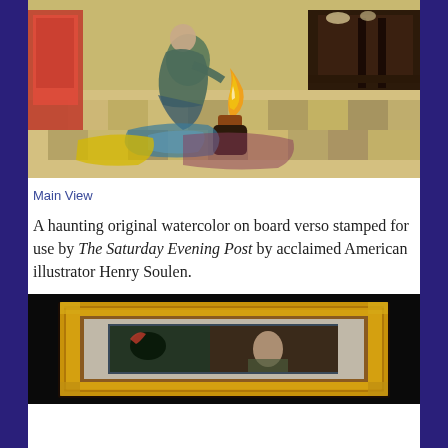[Figure (photo): A painting showing a person kneeling near a flame/lamp on a checkered floor, with furniture and red chair in background. Colorful expressionist style watercolor.]
Main View
A haunting original watercolor on board verso stamped for use by The Saturday Evening Post by acclaimed American illustrator Henry Soulen.
[Figure (photo): A framed artwork displayed against a dark/black background. The frame is ornate gold/wood colored. Inside shows a painting with dark tones.]